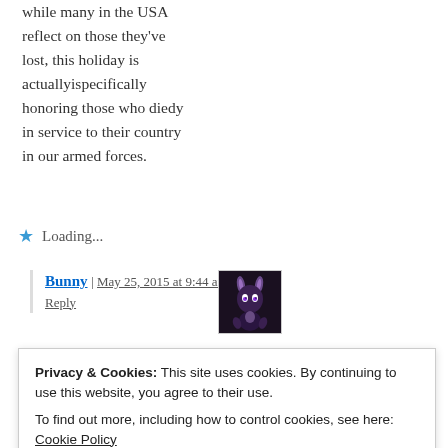while many in the USA reflect on those they've lost, this holiday is actuallyispecifically honoring those who diedy in service to their country in our armed forces.
★ Loading...
Bunny | May 25, 2015 at 9:44 am | Reply
[Figure (illustration): Avatar image of user Bunny — dark anime-style character with bunny ears on black background]
Privacy & Cookies: This site uses cookies. By continuing to use this website, you agree to their use. To find out more, including how to control cookies, see here: Cookie Policy
Close and accept
at 8:01 am | Reply